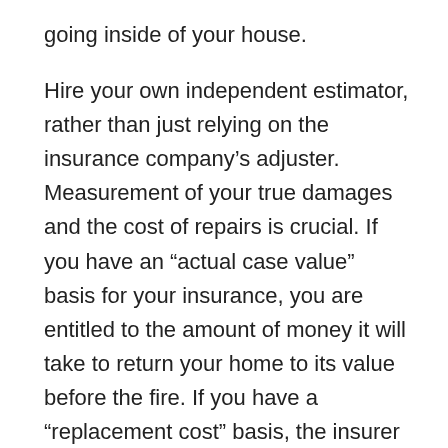going inside of your house.
Hire your own independent estimator, rather than just relying on the insurance company’s adjuster. Measurement of your true damages and the cost of repairs is crucial. If you have an “actual case value” basis for your insurance, you are entitled to the amount of money it will take to return your home to its value before the fire. If you have a “replacement cost” basis, the insurer covers the amount it would take to replace the contents up to a certain amount.
Again, the best thing you can do in filing a fire insurance claim is document everything. It may be a tough thing to do, considering the trauma you and your family have just suffered. But keep records of